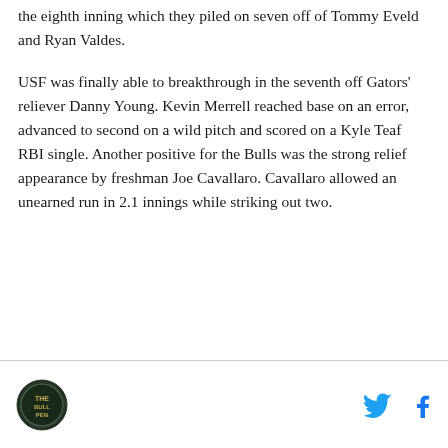the eighth inning which they piled on seven off of Tommy Eveld and Ryan Valdes.
USF was finally able to breakthrough in the seventh off Gators' reliever Danny Young. Kevin Merrell reached base on an error, advanced to second on a wild pitch and scored on a Kyle Teaf RBI single. Another positive for the Bulls was the strong relief appearance by freshman Joe Cavallaro. Cavallaro allowed an unearned run in 2.1 innings while striking out two.
[Figure (logo): Circular sports team logo in dark green/black]